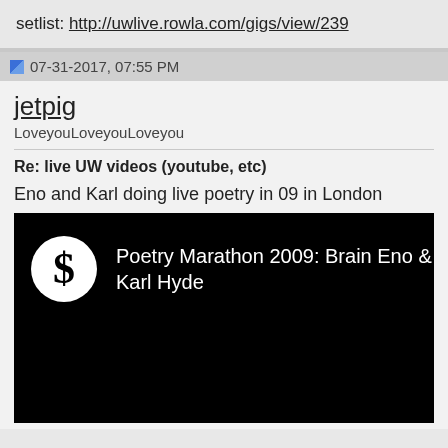setlist: http://uwlive.rowla.com/gigs/view/239
07-31-2017, 07:55 PM
jetpig
LoveyouLoveyouLoveyou
Re: live UW videos (youtube, etc)
Eno and Karl doing live poetry in 09 in London
[Figure (screenshot): Embedded video thumbnail showing black background with circular logo and text: Poetry Marathon 2009: Brain Eno & Karl Hyde]